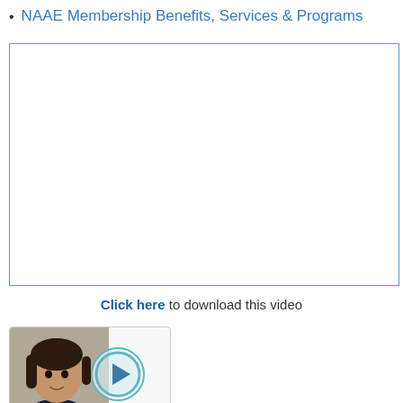NAAE Membership Benefits, Services & Programs
[Figure (other): Embedded video player box with teal/blue border, white interior, appears blank/loading]
Click here to download this video
[Figure (screenshot): Video thumbnail showing a woman speaking, with a circular teal play button overlay]